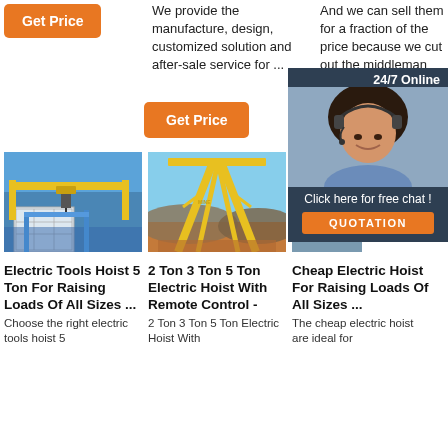We provide the manufacture, design, customized solution and after-sale service for ...
And we can sell them for a fraction of the price because we cut out the middleman and ...
[Figure (photo): Orange 'Get Price' button (top left)]
[Figure (photo): Orange 'Get Price' button (center)]
[Figure (photo): Orange 'Get P...' button (right, partially hidden by chat widget)]
[Figure (infographic): 24/7 Online chat widget with woman wearing headset, 'Click here for free chat!' text and orange QUOTATION button]
[Figure (photo): Photo of overhead/gantry crane with blue steel structure against blue sky]
[Figure (photo): Photo of yellow gantry crane structure against sky]
[Figure (photo): Photo of electric hoist lifting equipment]
Electric Tools Hoist 5 Ton For Raising Loads Of All Sizes ...
Choose the right electric tools hoist 5
2 Ton 3 Ton 5 Ton Electric Hoist With Remote Control -
2 Ton 3 Ton 5 Ton Electric Hoist With
Cheap Electric Hoist For Raising Loads Of All Sizes ...
The cheap electric hoist are ideal for